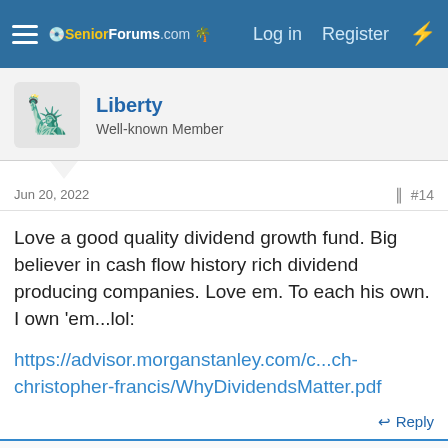SeniorForums.com — Log in  Register
Liberty
Well-known Member
Jun 20, 2022  #14
Love a good quality dividend growth fund. Big believer in cash flow history rich dividend producing companies. Love em. To each his own. I own 'em...lol:

https://advisor.morganstanley.com/c...ch-christopher-francis/WhyDividendsMatter.pdf
↩ Reply
👍 dseag2, Aunt Bea, OneEyedDiva and 1 other person